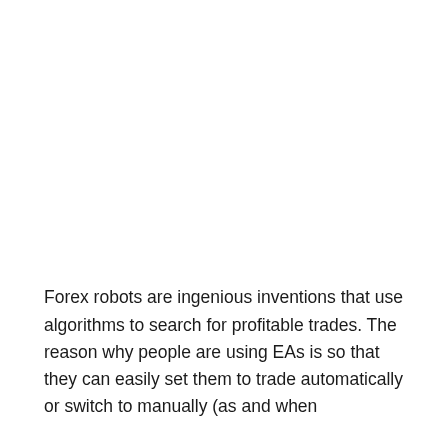Forex robots are ingenious inventions that use algorithms to search for profitable trades. The reason why people are using EAs is so that they can easily set them to trade automatically or switch to manually (as and when